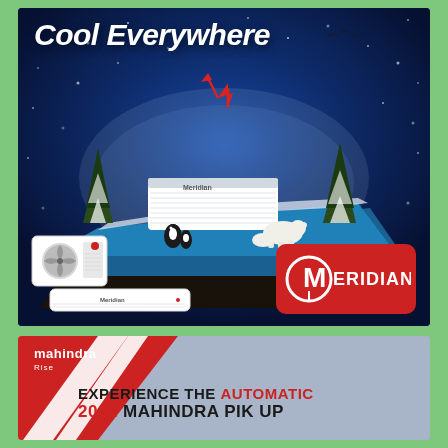[Figure (illustration): Meridian air conditioner advertisement with blue arctic/winter theme. Shows 'Cool Everywhere' headline with snowy landscape, polar bears, penguins, pine trees, and an AC outdoor unit on an ice platform. Bottom left shows AC indoor and outdoor unit product images. Bottom right shows Meridian brand logo in red rounded rectangle.]
[Figure (illustration): Mahindra Rise advertisement with red and grey diagonal design. Shows Mahindra logo top left with text 'EXPERIENCE THE AUTOMATIC 2022 MAHINDRA PIK UP' in bold black and red text.]